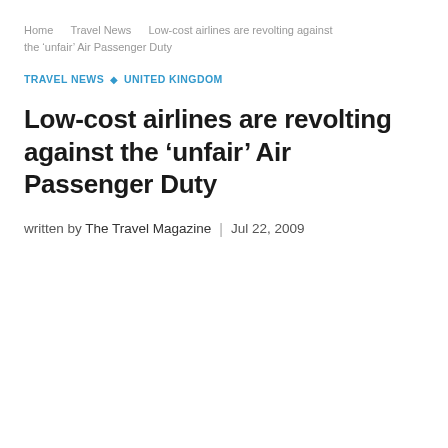Home   Travel News   Low-cost airlines are revolting against the ‘unfair’ Air Passenger Duty
TRAVEL NEWS ◇ UNITED KINGDOM
Low-cost airlines are revolting against the ‘unfair’ Air Passenger Duty
written by The Travel Magazine | Jul 22, 2009